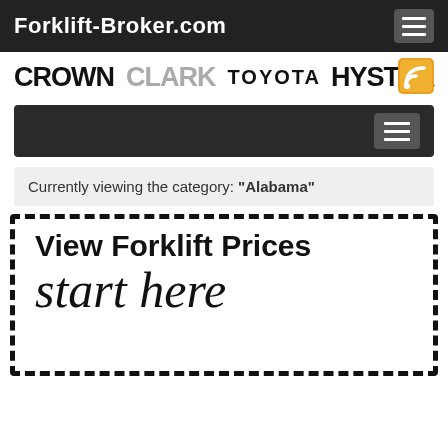Forklift-Broker.com
[Figure (logo): Brand logos: Crown, Clark, Toyota, Hyster with RSS icon]
[Figure (screenshot): Secondary navigation bar with hamburger menu]
Currently viewing the category: "Alabama"
[Figure (infographic): Dashed border box with text 'View Forklift Prices' and handwritten 'start here' with arrow]